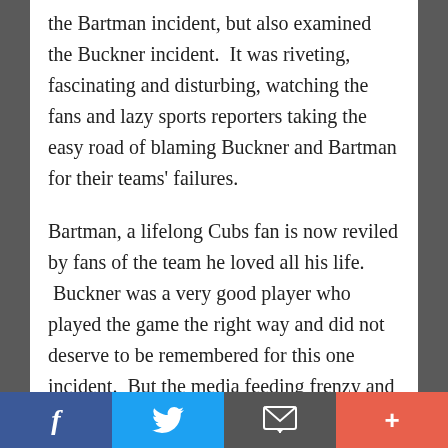the Bartman incident, but also examined the Buckner incident.  It was riveting, fascinating and disturbing, watching the fans and lazy sports reporters taking the easy road of blaming Buckner and Bartman for their teams' failures.
Bartman, a lifelong Cubs fan is now reviled by fans of the team he loved all his life.  Buckner was a very good player who played the game the right way and did not deserve to be remembered for this one incident.  But the media feeding frenzy and the…